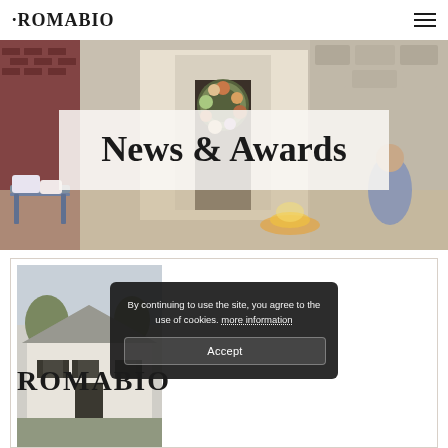ROMABIO
[Figure (photo): Hero banner photo showing an outdoor scene with a wreath on a door, brick wall, patio furniture, children playing around a fire pit, and warm autumn lighting.]
News & Awards
[Figure (photo): Card thumbnail showing a house exterior with a light-colored facade, trees, and the ROMABIO logo overlaid.]
By continuing to use the site, you agree to the use of cookies. more information
Accept